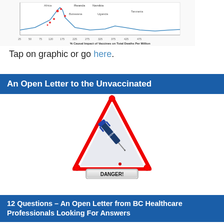[Figure (continuous-plot): Chart showing % Causal Impact of Vaccines on Total Deaths Per Million across African countries including Rwanda, Namibia, Botswana, Uganda, Tanzania. Source: Data collected from OWID, analyzed and plotted by Kyle Beattie using RStudio as of Sat Oct 30 11:27:15 2021]
Tap on graphic or go here.
An Open Letter to the Unvaccinated
[Figure (illustration): A warning triangle (red border, white/grey fill) containing an image of a vaccine syringe labeled 'VACCINES', with a rectangular button below reading 'DANGER!' in bold black text.]
12 Questions – An Open Letter from BC Healthcare Professionals Looking For Answers